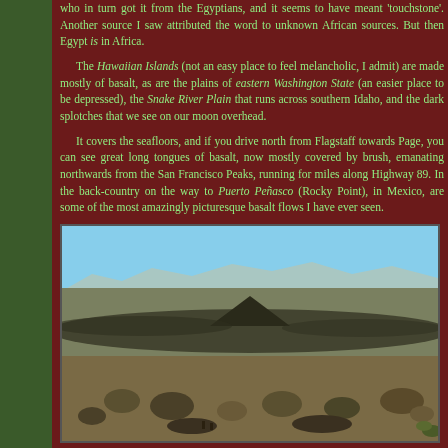who in turn got it from the Egyptians, and it seems to have meant 'touchstone'. Another source I saw attributed the word to unknown African sources. But then Egypt is in Africa.
The Hawaiian Islands (not an easy place to feel melancholic, I admit) are made mostly of basalt, as are the plains of eastern Washington State (an easier place to be depressed), the Snake River Plain that runs across southern Idaho, and the dark splotches that we see on our moon overhead.
It covers the seafloors, and if you drive north from Flagstaff towards Page, you can see great long tongues of basalt, now mostly covered by brush, emanating northwards from the San Francisco Peaks, running for miles along Highway 89. In the back-country on the way to Puerto Peñasco (Rocky Point), in Mexico, are some of the most amazingly picturesque basalt flows I have ever seen.
[Figure (photo): Desert landscape photograph showing a flat basalt-covered plain with sparse desert shrubs in the foreground, a dark volcanic cinder cone in the middle distance, mountain ranges along the horizon, and a clear blue sky above.]